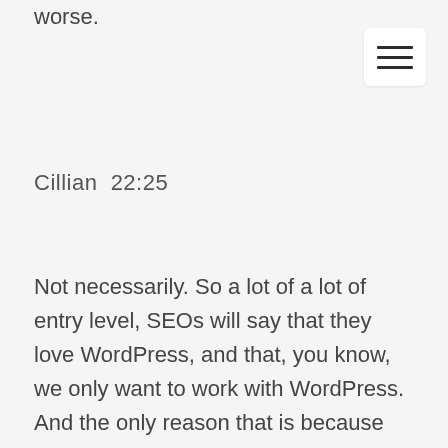worse.
[Figure (other): Hamburger menu button icon with three horizontal lines]
Cillian  22:25
Not necessarily. So a lot of a lot of entry level, SEOs will say that they love WordPress, and that, you know, we only want to work with WordPress. And the only reason that is because it’s much easier to change you want. And it’s much easier to make kind of the popular changes that you see all over the web when it comes to SEO, which is like why you should be changing your page title to this and your your heading 1 should be